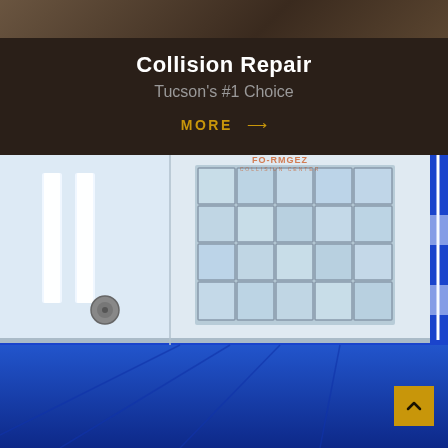[Figure (photo): Top portion of a person or scene, partially visible at the top of the page, dark brown background]
Collision Repair
Tucson's #1 Choice
MORE →
[Figure (photo): Interior of an auto body paint booth/spray booth with bright blue floor, white walls, glass block window in the background, light strips on the left wall, and blue panels on the right. A Formula Collision Center logo is visible on the back wall.]